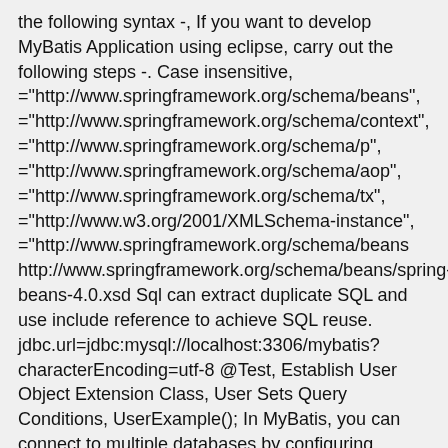the following syntax -, If you want to develop MyBatis Application using eclipse, carry out the following steps -. Case insensitive, ="http://www.springframework.org/schema/beans", ="http://www.springframework.org/schema/context", ="http://www.springframework.org/schema/p", ="http://www.springframework.org/schema/aop", ="http://www.springframework.org/schema/tx", ="http://www.w3.org/2001/XMLSchema-instance", ="http://www.springframework.org/schema/beans http://www.springframework.org/schema/beans/spring-beans-4.0.xsd Sql can extract duplicate SQL and use include reference to achieve SQL reuse. jdbc.url=jdbc:mysql://localhost:3306/mybatis?characterEncoding=utf-8 @Test, Establish User Object Extension Class, User Sets Query Conditions, UserExample(); In MyBatis, you can connect to multiple databases by configuring multiple environment elements. (#{username},#{birthday},#{sex},#{address}), * Query users according to id UNPOOLED – For the dataSource type UNPOOLED, MyBatis simply opens and closes a connection for every database operation. Refer MyBatis documentation for the complete details. Avoid direct use